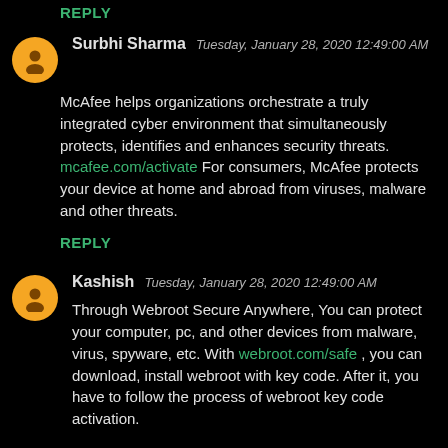REPLY
Surbhi Sharma  Tuesday, January 28, 2020 12:49:00 AM
McAfee helps organizations orchestrate a truly integrated cyber environment that simultaneously protects, identifies and enhances security threats. mcafee.com/activate For consumers, McAfee protects your device at home and abroad from viruses, malware and other threats.
REPLY
Kashish  Tuesday, January 28, 2020 12:49:00 AM
Through Webroot Secure Anywhere, You can protect your computer, pc, and other devices from malware, virus, spyware, etc. With webroot.com/safe , you can download, install webroot with key code. After it, you have to follow the process of webroot key code activation.